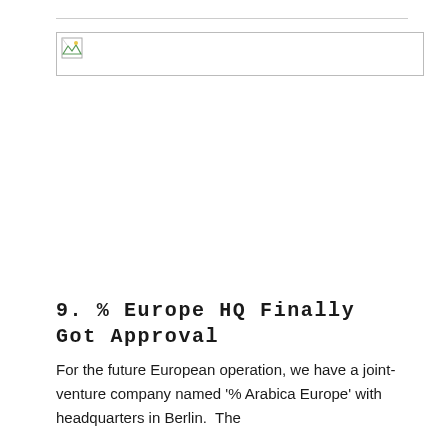[Figure (photo): Broken/missing image placeholder with small icon in top-left corner]
9. % Europe HQ Finally Got Approval
For the future European operation, we have a joint-venture company named '% Arabica Europe' with headquarters in Berlin.  The